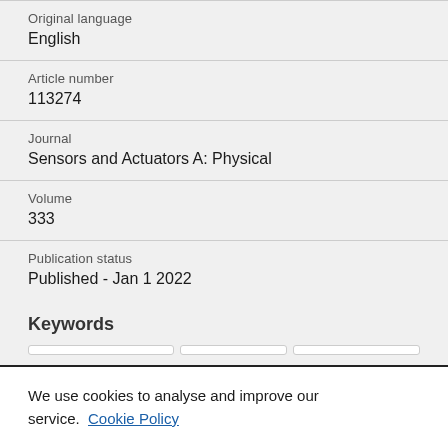Original language
English
Article number
113274
Journal
Sensors and Actuators A: Physical
Volume
333
Publication status
Published - Jan 1 2022
Keywords
We use cookies to analyse and improve our service. Cookie Policy